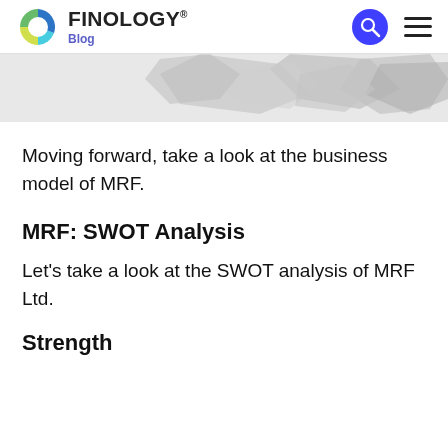FINOLOGY® Blog
[Figure (photo): Partial hero image showing grey/silver crumpled or torn paper shapes on white background]
Moving forward, take a look at the business model of MRF.
MRF: SWOT Analysis
Let's take a look at the SWOT analysis of MRF Ltd.
Strength